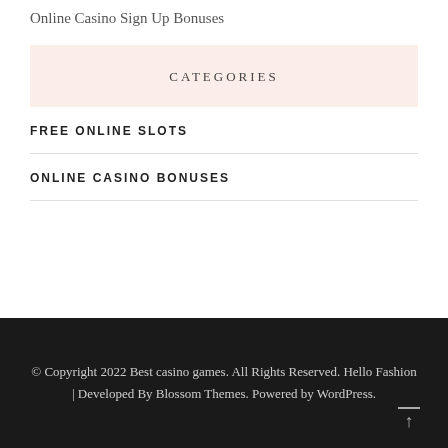Online Casino Sign Up Bonuses
CATEGORIES
FREE ONLINE SLOTS
ONLINE CASINO BONUSES
© Copyright 2022 Best casino games. All Rights Reserved. Hello Fashion | Developed By Blossom Themes. Powered by WordPress.